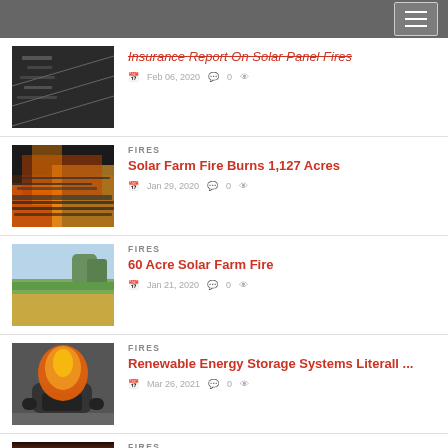Insurance Report On Solar Panel Fires — Feb 06, 2020 — 0 comments
FIRES — Solar Farm Fire Burns 1,127 Acres — Jan 29, 2020 — 0 comments
FIRES — 60 Acre Solar Farm Fire — Jan 21, 2020 — 0 comments
FIRES — Renewable Energy Storage Systems Literall ... — Mar 26, 2021 — 0 comments
FIRES — (partial)